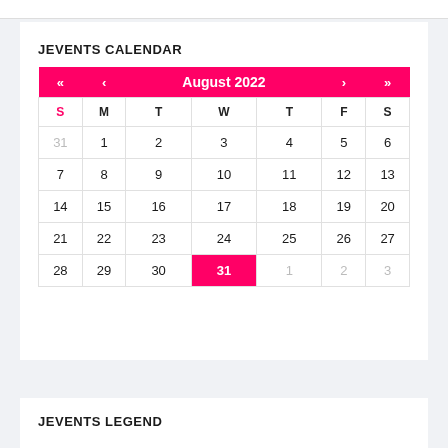JEVENTS CALENDAR
| S | M | T | W | T | F | S |
| --- | --- | --- | --- | --- | --- | --- |
| 31 | 1 | 2 | 3 | 4 | 5 | 6 |
| 7 | 8 | 9 | 10 | 11 | 12 | 13 |
| 14 | 15 | 16 | 17 | 18 | 19 | 20 |
| 21 | 22 | 23 | 24 | 25 | 26 | 27 |
| 28 | 29 | 30 | 31 | 1 | 2 | 3 |
JEVENTS LEGEND